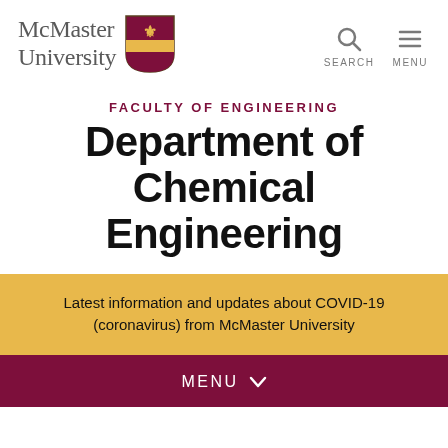[Figure (logo): McMaster University logo with shield crest and navigation icons (search, menu)]
FACULTY OF ENGINEERING
Department of Chemical Engineering
Latest information and updates about COVID-19 (coronavirus) from McMaster University
MENU